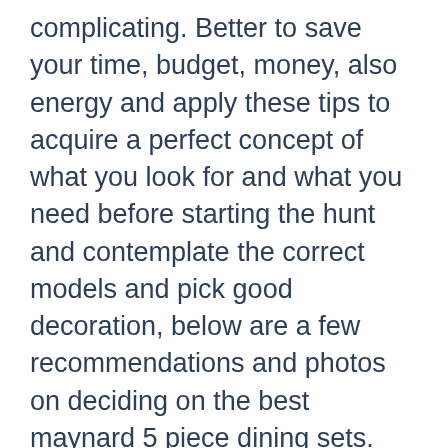complicating. Better to save your time, budget, money, also energy and apply these tips to acquire a perfect concept of what you look for and what you need before starting the hunt and contemplate the correct models and pick good decoration, below are a few recommendations and photos on deciding on the best maynard 5 piece dining sets.
The style and design must good impression to your choice of dining tables. Is it modern or contemporary, minimalist, traditional or classic? Modern and contemporary decor has minimalist/clear lines and often makes use of bright color and other natural colors. Traditional and classic furniture is elegant, it